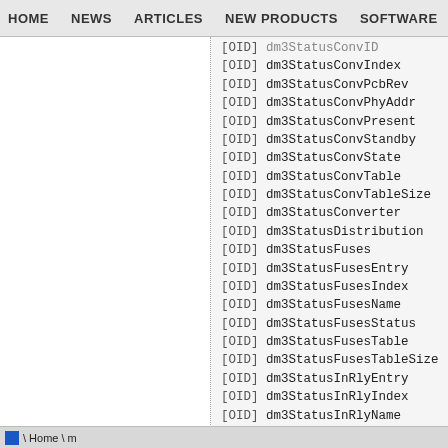HOME  NEWS  ARTICLES  NEW PRODUCTS  SOFTWARE
[OID] dm3StatusConvID
[OID] dm3StatusConvIndex
[OID] dm3StatusConvPcbRev
[OID] dm3StatusConvPhyAddr
[OID] dm3StatusConvPresent
[OID] dm3StatusConvStandby
[OID] dm3StatusConvState
[OID] dm3StatusConvTable
[OID] dm3StatusConvTableSize
[OID] dm3StatusConverter
[OID] dm3StatusDistribution
[OID] dm3StatusFuses
[OID] dm3StatusFusesEntry
[OID] dm3StatusFusesIndex
[OID] dm3StatusFusesName
[OID] dm3StatusFusesStatus
[OID] dm3StatusFusesTable
[OID] dm3StatusFusesTableSize
[OID] dm3StatusInRlyEntry
[OID] dm3StatusInRlyIndex
[OID] dm3StatusInRlyName
[OID] dm3StatusInRlyStatus
[OID] dm3StatusInRlyTable
[OID] dm3StatusInRlyTableSize
[OID] dm3StatusInputRelays
[OID] dm3StatusLVD
\ Home \ m